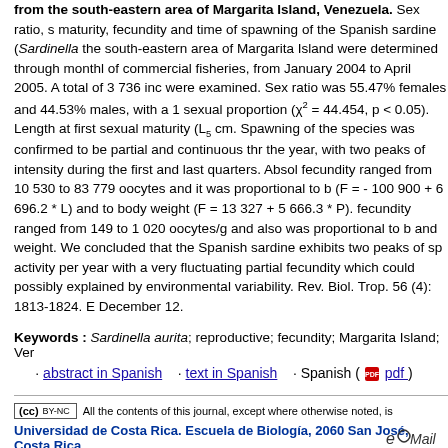Reproduction of the Spanish sardine, Sardinella aurita (Clupeiformes: Clupeidae) from the south-eastern area of Margarita Island, Venezuela. Sex ratio, sexual maturity, fecundity and time of spawning of the Spanish sardine (Sardinella aurita) from the south-eastern area of Margarita Island were determined through monthly samples of commercial fisheries, from January 2004 to April 2005. A total of 3 736 individuals were examined. Sex ratio was 55.47% females and 44.53% males, with a 1:1 sexual proportion (χ² = 44.454, p < 0.05). Length at first sexual maturity (L50) cm. Spawning of the species was confirmed to be partial and continuous throughout the year, with two peaks of intensity during the first and last quarters. Absolute fecundity ranged from 10 530 to 83 779 oocytes and it was proportional to body length (F = - 100 900 + 6 696.2 * L) and to body weight (F = 13 327 + 5 666.3 * P). Relative fecundity ranged from 149 to 1 020 oocytes/g and also was proportional to both length and weight. We concluded that the Spanish sardine exhibits two peaks of spawning activity per year with a very fluctuating partial fecundity which could possibly be explained by environmental variability. Rev. Biol. Trop. 56 (4): 1813-1824. Epub 2008 December 12.
Keywords : Sardinella aurita; reproductive; fecundity; Margarita Island; Venezuela
· abstract in Spanish · text in Spanish · Spanish ( pdf )
All the contents of this journal, except where otherwise noted, is
Universidad de Costa Rica. Escuela de Biología, 2060 San José, Costa Rica
rbt@biologia.ucr.ac.cr